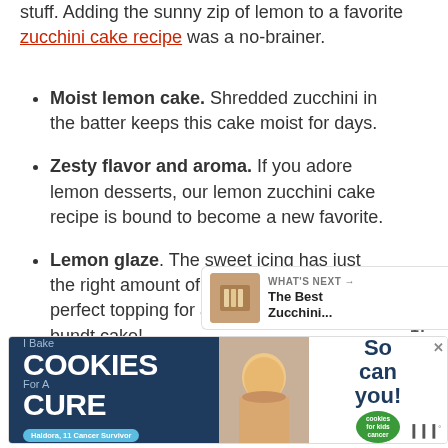stuff. Adding the sunny zip of lemon to a favorite zucchini cake recipe was a no-brainer.
Moist lemon cake. Shredded zucchini in the batter keeps this cake moist for days.
Zesty flavor and aroma. If you adore lemon desserts, our lemon zucchini cake recipe is bound to become a new favorite.
Lemon glaze. The sweet icing has just the right amount of bright citrusy tang. A perfect topping for a lemon zucchini bundt cake!
[Figure (infographic): Social sharing widget with heart/like button showing 17 saves and a share button]
[Figure (infographic): What's Next panel showing thumbnail of zucchini cake and text 'The Best Zucchini...']
[Figure (infographic): Advertisement banner: I Bake COOKIES For A CURE - Haldora, 11 Cancer Survivor - So can you! - cookies for kids cancer logo]